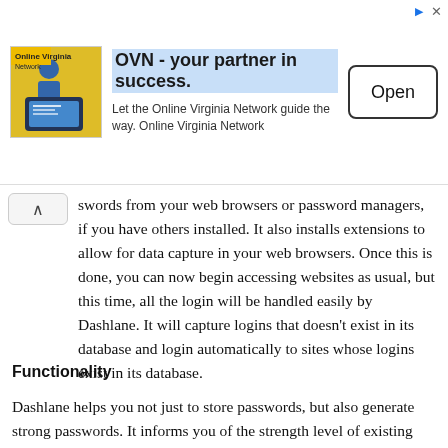[Figure (other): Advertisement banner for OVN - Online Virginia Network with logo image, headline text, subtext, and Open button]
swords from your web browsers or password managers, if you have others installed. It also installs extensions to allow for data capture in your web browsers. Once this is done, you can now begin accessing websites as usual, but this time, all the login will be handled easily by Dashlane. It will capture logins that doesn't exist in its database and login automatically to sites whose logins exist in its database.
Functionality
Dashlane helps you not just to store passwords, but also generate strong passwords. It informs you of the strength level of existing passwords and recommends the ones you